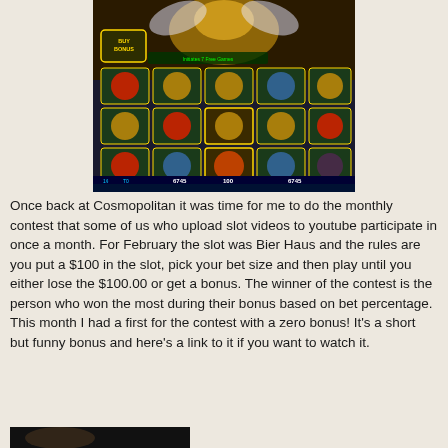[Figure (screenshot): Screenshot of a slot machine game showing a fairy-themed slot with reels displaying various symbols including fairies, flowers, and other icons. Bottom display shows credit amounts of 6745 and 100. A 'BUY BONUS' button is visible in the upper left of the screen.]
Once back at Cosmopolitan it was time for me to do the monthly contest that some of us who upload slot videos to youtube participate in once a month. For February the slot was Bier Haus and the rules are you put a $100 in the slot, pick your bet size and then play until you either lose the $100.00 or get a bonus. The winner of the contest is the person who won the most during their bonus based on bet percentage. This month I had a first for the contest with a zero bonus! It's a short but funny bonus and here's a link to it if you want to watch it.
[Figure (screenshot): Partial screenshot of a video thumbnail showing a person, appears to be a woman, with dark background.]